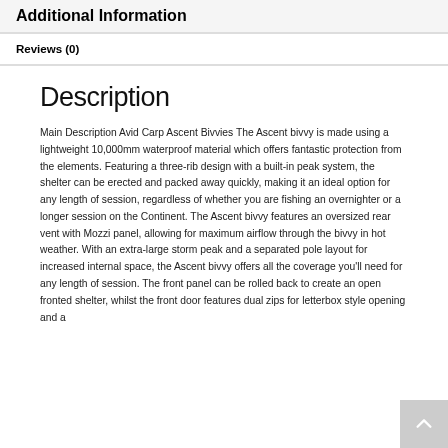Additional Information
Reviews (0)
Description
Main Description Avid Carp Ascent Bivvies The Ascent bivvy is made using a lightweight 10,000mm waterproof material which offers fantastic protection from the elements. Featuring a three-rib design with a built-in peak system, the shelter can be erected and packed away quickly, making it an ideal option for any length of session, regardless of whether you are fishing an overnighter or a longer session on the Continent. The Ascent bivvy features an oversized rear vent with Mozzi panel, allowing for maximum airflow through the bivvy in hot weather. With an extra-large storm peak and a separated pole layout for increased internal space, the Ascent bivvy offers all the coverage you'll need for any length of session. The front panel can be rolled back to create an open fronted shelter, whilst the front door features dual zips for letterbox style opening and a